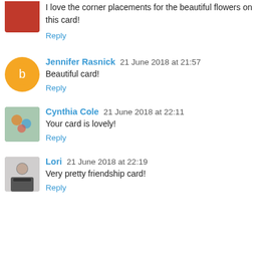I love the corner placements for the beautiful flowers on this card!
Reply
Jennifer Rasnick 21 June 2018 at 21:57
Beautiful card!
Reply
Cynthia Cole 21 June 2018 at 22:11
Your card is lovely!
Reply
Lori 21 June 2018 at 22:19
Very pretty friendship card!
Reply